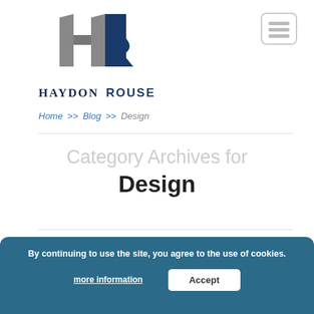[Figure (logo): Haydon Rouse logo: stylized HR letters in blue and grey, with company name HAYDON ROUSE below in dark blue serif/sans-serif font]
[Figure (other): Hamburger menu button: three horizontal grey lines inside a rounded rectangle border]
Home >> Blog >> Design
Category Archives for Design
By continuing to use the site, you agree to the use of cookies. more information Accept
[Figure (illustration): Partially visible decorative alphabet letters A B C D E F G in orange/yellow illuminated bulb style, cropped at the bottom of the page]